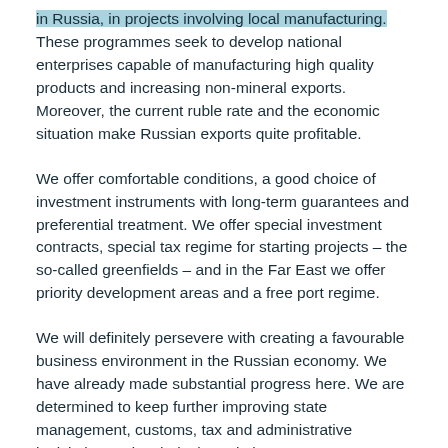in Russia, in projects involving local manufacturing. These programmes seek to develop national enterprises capable of manufacturing high quality products and increasing non-mineral exports. Moreover, the current ruble rate and the economic situation make Russian exports quite profitable.
We offer comfortable conditions, a good choice of investment instruments with long-term guarantees and preferential treatment. We offer special investment contracts, special tax regime for starting projects – the so-called greenfields – and in the Far East we offer priority development areas and a free port regime.
We will definitely persevere with creating a favourable business environment in the Russian economy. We have already made substantial progress here. We are determined to keep further improving state management, customs, tax and administrative legislation and technical regulations. We are continuing our contacts with business communities to it